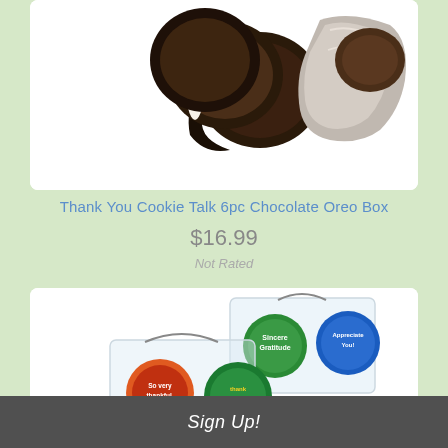[Figure (photo): Partial view of chocolate covered Oreo cookies product image on white card background]
Thank You Cookie Talk 6pc Chocolate Oreo Box
$16.99
Not Rated
[Figure (photo): Chocolate foil-wrapped candies with colorful labels reading Sincere Gratitude, Appreciate You, So very thankful, and thank you, arranged with silver foil wrapping]
Sign Up!